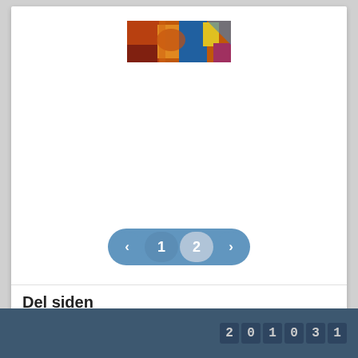[Figure (illustration): A small colorful painting/artwork thumbnail centered near the top of a white card]
[Figure (infographic): Pagination control showing left arrow, page 1 (active), page 2 (current/grayed), right arrow — styled as a rounded blue pill]
Del siden
Del på Facebook
Del på Twitter
201031